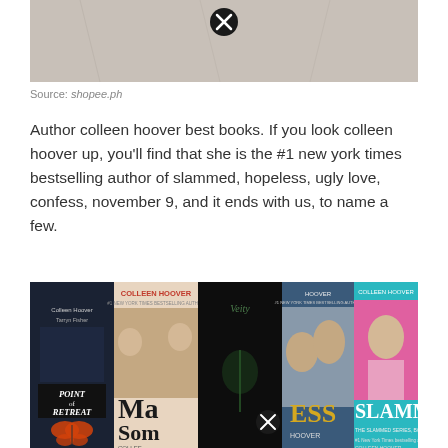[Figure (photo): Top portion of a gray fabric/cloth image, partially cropped, with a circular close/delete icon overlay in the upper center area.]
Source: shopee.ph
Author colleen hoover best books. If you look colleen hoover up, you'll find that she is the #1 new york times bestselling author of slammed, hopeless, ugly love, confess, november 9, and it ends with us, to name a few.
[Figure (photo): Collage of Colleen Hoover book covers including Point of Retreat, Maybe Someday, Verity, Confess, and Slammed among others, with a circular close icon overlay on one of the books.]